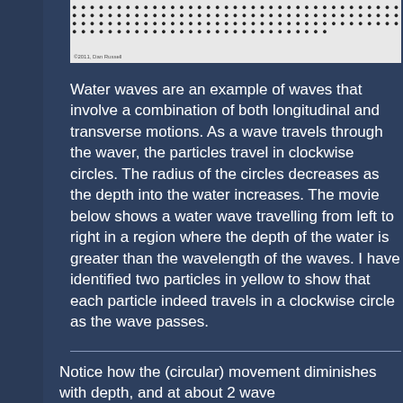[Figure (illustration): A dotted pattern image showing rows of dots against a light grey background, with a copyright notice '©2011, Dan Russell' at the bottom left.]
Water waves are an example of waves that involve a combination of both longitudinal and transverse motions. As a wave travels through the waver, the particles travel in clockwise circles. The radius of the circles decreases as the depth into the water increases. The movie below shows a water wave travelling from left to right in a region where the depth of the water is greater than the wavelength of the waves. I have identified two particles in yellow to show that each particle indeed travels in a clockwise circle as the wave passes.
Notice how the (circular) movement diminishes with depth, and at about 2 wave...